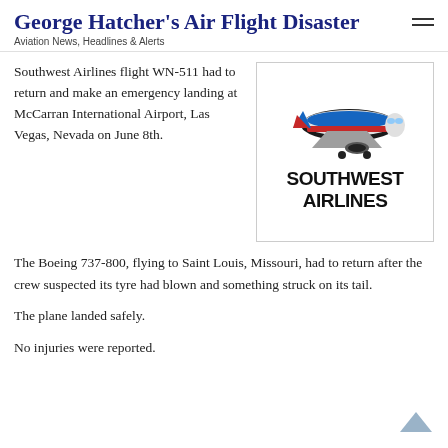George Hatcher's Air Flight Disaster
Aviation News, Headlines & Alerts
Southwest Airlines flight WN-511 had to return and make an emergency landing at McCarran International Airport, Las Vegas, Nevada on June 8th.
[Figure (logo): Southwest Airlines logo: cartoon airplane above bold text reading SOUTHWEST AIRLINES]
The Boeing 737-800, flying to Saint Louis, Missouri, had to return after the crew suspected its tyre had blown and something struck on its tail.
The plane landed safely.
No injuries were reported.